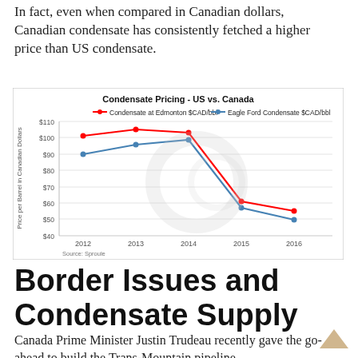In fact, even when compared in Canadian dollars, Canadian condensate has consistently fetched a higher price than US condensate.
[Figure (line-chart): Condensate Pricing - US vs. Canada]
Border Issues and Condensate Supply
Canada Prime Minister Justin Trudeau recently gave the go-ahead to build the Trans-Mountain pipeline